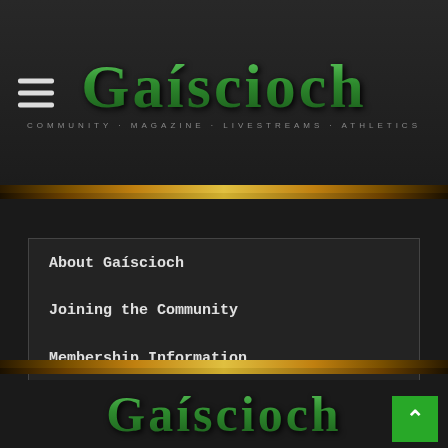[Figure (logo): Gaiscioch logo with green Celtic-style text and subtitle: COMMUNITY MAGAZINE LIVESTREAMS ATHLETICS]
About Gaiscioch
Joining the Community
Membership Information
Gaiscioch Adventures
Contact Us
[Figure (logo): Gaiscioch footer logo in green Celtic-style text]